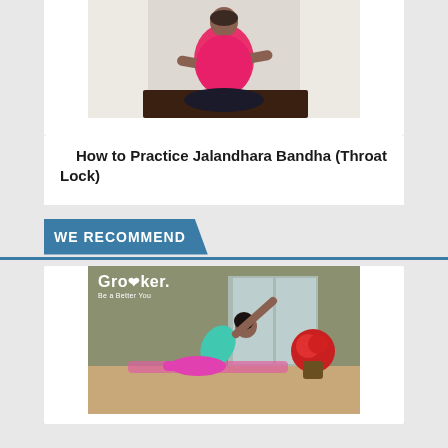[Figure (photo): Woman in pink top seated on floor doing Jalandhara Bandha (Throat Lock) yoga pose, with white curtains in background]
How to Practice Jalandhara Bandha (Throat Lock)
WE RECOMMEND
[Figure (photo): Grokker branded image showing a woman in teal top doing a side stretch yoga pose on a mat with red flowers in background. Grokker logo and tagline 'Be a Better You' overlay on the image.]